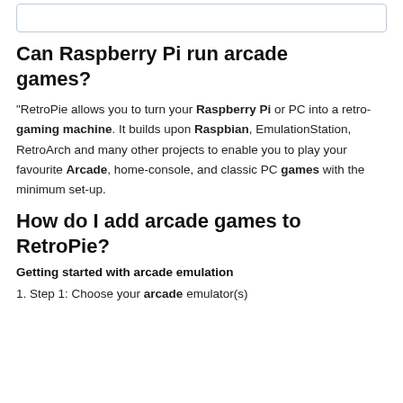[Figure (other): Top bordered box, partially visible]
Can Raspberry Pi run arcade games?
“RetroPie allows you to turn your Raspberry Pi or PC into a retro-gaming machine. It builds upon Raspbian, EmulationStation, RetroArch and many other projects to enable you to play your favourite Arcade, home-console, and classic PC games with the minimum set-up.
How do I add arcade games to RetroPie?
Getting started with arcade emulation
1. Step 1: Choose your arcade emulator(s)